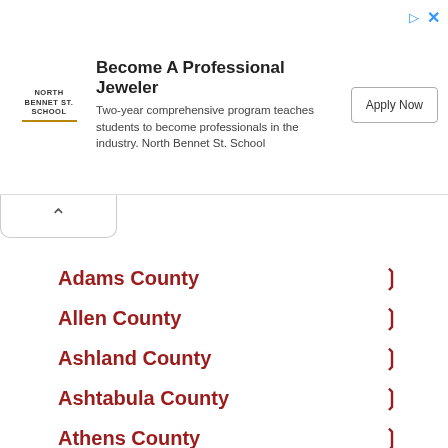[Figure (other): Advertisement banner for North Bennet Street School showing logo, headline 'Become A Professional Jeweler', body text, and Apply Now button]
Adams County
Allen County
Ashland County
Ashtabula County
Athens County
Auglaize County
Belmont County